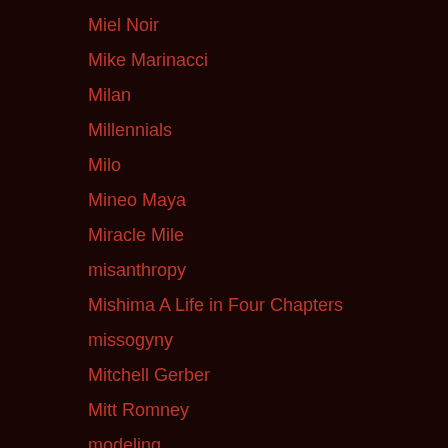Miel Noir
Mike Marinacci
Milan
Millennials
Milo
Mineo Maya
Miracle Mile
misanthropy
Mishima A Life in Four Chapters
missogyny
Mitchell Gerber
Mitt Romney
modeling
Mojave Desert
Monotheism